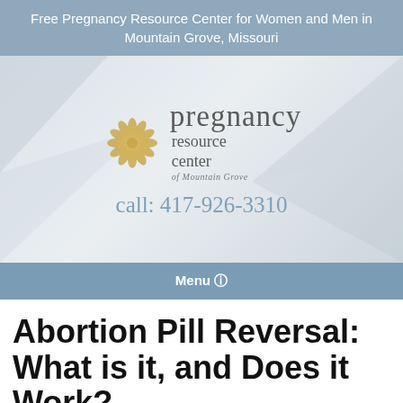Free Pregnancy Resource Center for Women and Men in Mountain Grove, Missouri
[Figure (logo): Pregnancy Resource Center of Mountain Grove logo with golden flower emblem, text 'pregnancy resource center of Mountain Grove', and phone number 'call: 417-926-3310' on a grey gradient background]
Menu
Abortion Pill Reversal: What is it, and Does it Work?
MAY 19, 2020